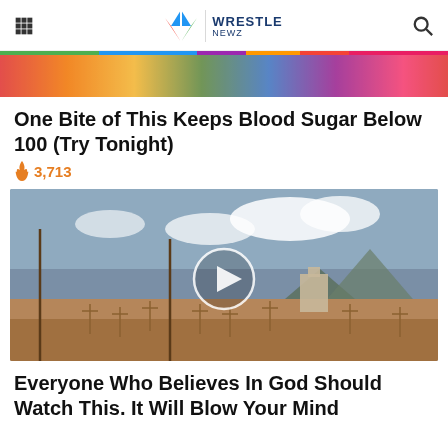Wrestle Newz
[Figure (photo): Colorful rainbow-colored image strip at top of page]
One Bite of This Keeps Blood Sugar Below 100 (Try Tonight)
🔥 3,713
[Figure (photo): Cemetery with wooden crosses under a cloudy sky, mountains in background, with a circular play button overlay indicating a video]
Everyone Who Believes In God Should Watch This. It Will Blow Your Mind